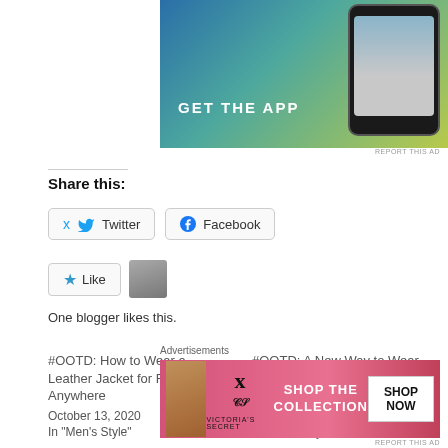[Figure (photo): App advertisement banner with blue-teal-yellow gradient background showing 'GET THE APP' text and phone mockup]
REPORT THIS AD
Share this:
Twitter   Facebook
[Figure (infographic): Like button with blue star icon and avatar thumbnail]
One blogger likes this.
#OOTD: How to Wear a Leather Jacket for Fall — Anywhere
October 13, 2020
In "Men's Style"
#OOTD: A New Way to Wear Your Field Jacket for Cold Weather
October 24, 2017
In "Men's Style"
Advertisements
[Figure (photo): Victoria's Secret advertisement with model, VS logo, 'SHOP THE COLLECTION' text and 'SHOP NOW' button]
REPORT THIS AD